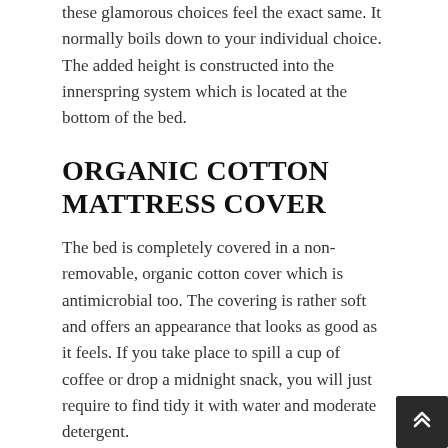these glamorous choices feel the exact same. It normally boils down to your individual choice. The added height is constructed into the innerspring system which is located at the bottom of the bed.
ORGANIC COTTON MATTRESS COVER
The bed is completely covered in a non-removable, organic cotton cover which is antimicrobial too. The covering is rather soft and offers an appearance that looks as good as it feels. If you take place to spill a cup of coffee or drop a midnight snack, you will just require to find tidy it with water and moderate detergent.
FEEL AND FIRMNESS
Once we finished our evaluation of the Saatva